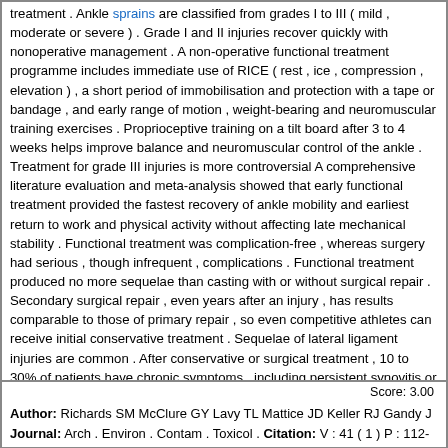treatment . Ankle sprains are classified from grades I to III ( mild , moderate or severe ) . Grade I and II injuries recover quickly with nonoperative management . A non-operative functional treatment programme includes immediate use of RICE ( rest , ice , compression , elevation ) , a short period of immobilisation and protection with a tape or bandage , and early range of motion , weight-bearing and neuromuscular training exercises . Proprioceptive training on a tilt board after 3 to 4 weeks helps improve balance and neuromuscular control of the ankle . Treatment for grade III injuries is more controversial A comprehensive literature evaluation and meta-analysis showed that early functional treatment provided the fastest recovery of ankle mobility and earliest return to work and physical activity without affecting late mechanical stability . Functional treatment was complication-free , whereas surgery had serious , though infrequent , complications . Functional treatment produced no more sequelae than casting with or without surgical repair . Secondary surgical repair , even years after an injury , has results comparable to those of primary repair , so even competitive athletes can receive initial conservative treatment . Sequelae of lateral ligament injuries are common . After conservative or surgical treatment , 10 to 30% of patients have chronic symptoms , including persistent synovitis or tendinitis , ankle stiffness , swelling , pain , muscle weakness and giving-way . Well-designed physical therapy programmes usually reduce instability . For individuals with chronic instability refractory to conservative measures , surgery may be needed . Subtalar instability should be carefully evaluated when considering surgery .
Score: 3.00
Author: Richards SM McClure GY Lavy TL Mattice JD Keller RJ Gandy J
Journal: Arch . Environ . Contam . Toxicol . Citation: V : 41 ( 1 ) P : 112-